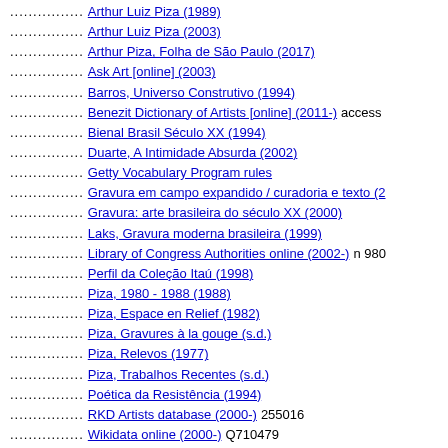................ Arthur Luiz Piza (1989)
................ Arthur Luiz Piza (2003)
................ Arthur Piza, Folha de São Paulo (2017)
................ Ask Art [online] (2003)
................ Barros, Universo Construtivo (1994)
................ Benezit Dictionary of Artists [online] (2011-) access
................ Bienal Brasil Século XX (1994)
................ Duarte, A Intimidade Absurda (2002)
................ Getty Vocabulary Program rules
................ Gravura em campo expandido / curadoria e texto (2
................ Gravura: arte brasileira do século XX (2000)
................ Laks, Gravura moderna brasileira (1999)
................ Library of Congress Authorities online (2002-) n 980
................ Perfil da Coleção Itaú (1998)
................ Piza, 1980 - 1988 (1988)
................ Piza, Espace en Relief (1982)
................ Piza, Gravures à la gouge (s.d.)
................ Piza, Relevos (1977)
................ Piza, Trabalhos Recentes (s.d.)
................ Poética da Resistência (1994)
................ RKD Artists database (2000-) 255016
................ Wikidata online (2000-) Q710479
New Search